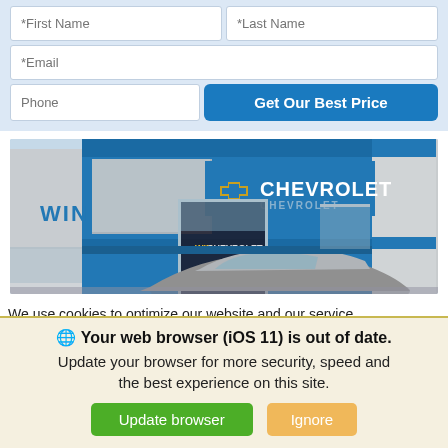[Figure (screenshot): Web form with fields for First Name, Last Name, Email, Phone and a blue 'Get Our Best Price' button on a light blue background]
[Figure (photo): Chevrolet dealership exterior with blue facade, Chevrolet logo and 'WIN' text visible, car in foreground]
We use cookies to optimize our website and our service.
Cookie Policy   Privacy Statement
Your web browser (iOS 11) is out of date. Update your browser for more security, speed and the best experience on this site.
Update browser   Ignore